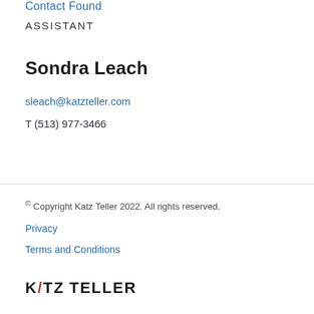Contact Found
ASSISTANT
Sondra Leach
sleach@katzteller.com
T (513) 977-3466
© Copyright Katz Teller 2022. All rights reserved.
Privacy
Terms and Conditions
KATZ TELLER